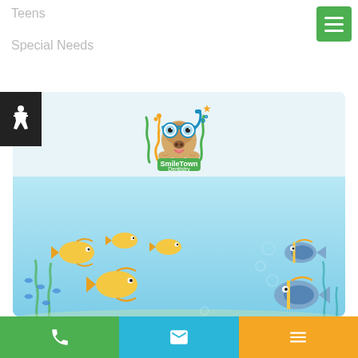Teens
Special Needs
[Figure (logo): SmileTown Dentistry logo — cartoon pug wearing snorkel mask with underwater ocean theme]
Book Your New Patient Appointment Today!
Book Now
[Figure (illustration): Underwater ocean scene with yellow fish, blue tang fish, bubbles, and seaweed decorations]
Phone | Email | Menu — bottom navigation bar